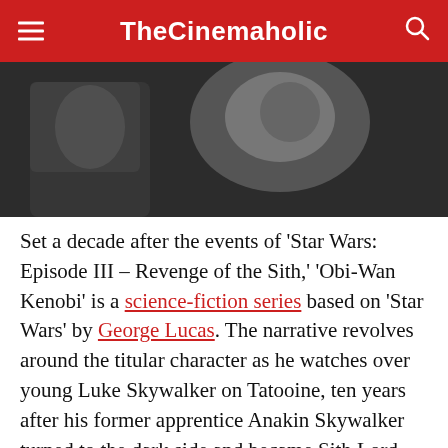TheCinemaholic
[Figure (photo): Dark close-up photo of a person, partially lit, appears to be a scene from a film or TV show]
Set a decade after the events of ‘Star Wars: Episode III – Revenge of the Sith,’ ‘Obi-Wan Kenobi’ is a science-fiction series based on ‘Star Wars’ by George Lucas. The narrative revolves around the titular character as he watches over young Luke Skywalker on Tatooine, ten years after his former apprentice Anakin Skywalker turned to the dark side and became Sith Lord Darth Vader. This happened after Order 66 destroyed the